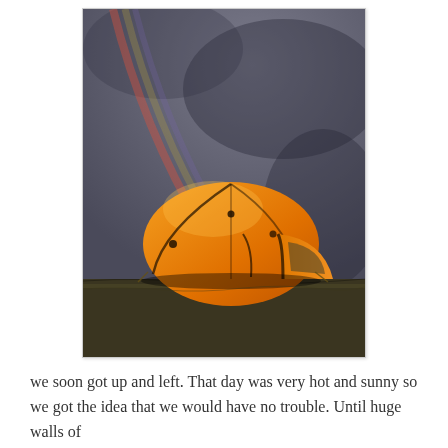[Figure (photo): An orange dome camping tent sitting on flat grassland under a dramatic stormy grey sky with a rainbow arcing down from upper left toward the tent.]
we soon got up and left. That day was very hot and sunny so we got the idea that we would have no trouble. Until huge walls of